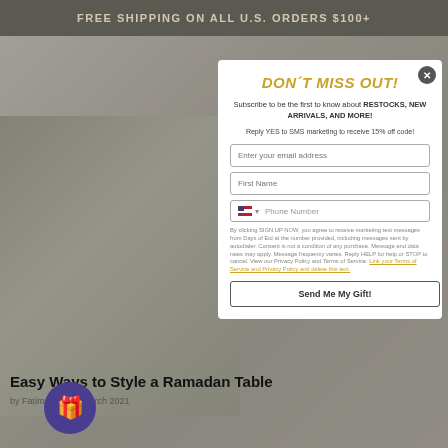FREE SHIPPING ON ALL U.S. ORDERS $100+
DON'T MISS OUT!
Subscribe to be the first to know about RESTOCKS, NEW ARRIVALS, AND MORE!
Reply YES to SMS marketing to receive 15% off code!
Enter your email address
First Name
Phone Number
By clicking SIGN UP NOW, you agree to receive marketing text messages from Days of Eid at the number provided, including messages sent by autodialer. Consent is not a condition of any purchase. Message and data rates may apply. Message frequency varies. Reply HELP for help or STOP to cancel. View our Privacy Policy and Terms of Service. Link your Terms of Service and Privacy Policy and delete this text.
Send Me My Gift!
Easy Ways to Style a Ramadan Table